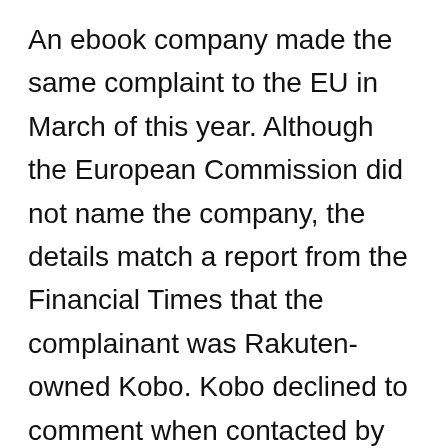An ebook company made the same complaint to the EU in March of this year. Although the European Commission did not name the company, the details match a report from the Financial Times that the complainant was Rakuten-owned Kobo. Kobo declined to comment when contacted by Business Insider.
Apple hit back, saying the EU is “advancing baseless complaints from a handful of companies who simply want a free ride,